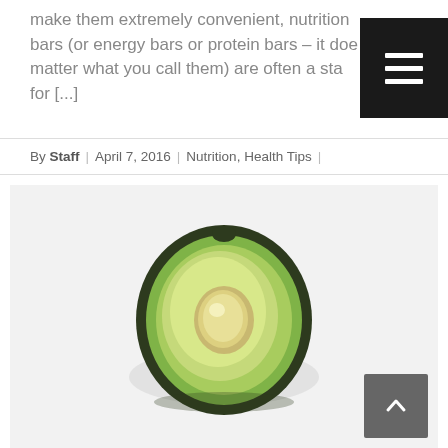make them extremely convenient, nutrition bars (or energy bars or protein bars – it doesn't matter what you call them) are often a staple for [...]
By Staff | April 7, 2016 | Nutrition, Health Tips |
[Figure (photo): Photo of a halved avocado showing the green flesh and pit cavity, on a light grey/white background]